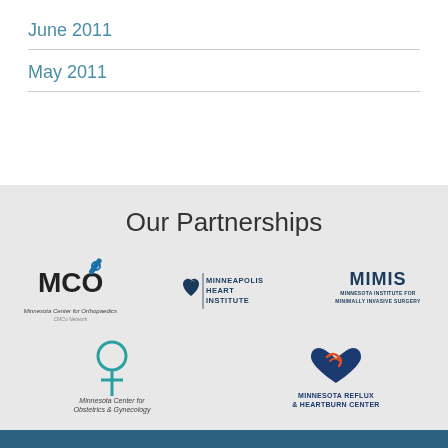June 2011
May 2011
Our Partnerships
[Figure (logo): Five partner organization logos: MCO (Minnesota Center for Orthopaedics), Minneapolis Heart Institute, MIMIS (Minnesota Institute for Minimally Invasive Surgery), Minnesota Center for Obstetrics & Gynecology, Minnesota Reflux & Heartburn Center]